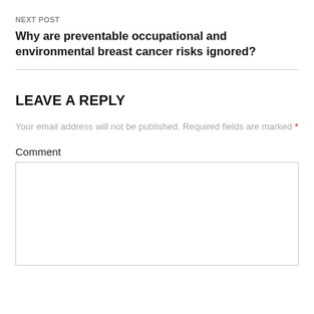NEXT POST
Why are preventable occupational and environmental breast cancer risks ignored?
LEAVE A REPLY
Your email address will not be published. Required fields are marked *
Comment